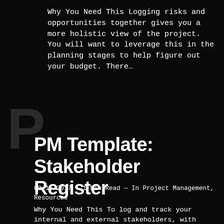Why You Need This Logging risks and opportunities together gives you a more holistic view of the project. You will want to leverage this in the planning stages to help figure out your budget. There…
PM Template: Stakeholder Register
02/15/2017 — 1 Min Read — In Project Management, Resources
Why You Need This To log and track your internal and external stakeholders, with quick access to their vitals. Making this available to your team will help with onboarding. If you are using a RACI…